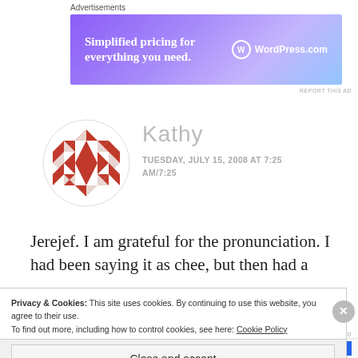Advertisements
[Figure (other): WordPress.com advertisement banner: 'Simplified pricing for everything you need.' with WordPress.com logo on purple-to-blue gradient background]
REPORT THIS AD
Kathy
TUESDAY, JULY 15, 2008 AT 7:25 AM/7:25
Jerejef. I am grateful for the pronunciation. I had been saying it as chee, but then had a
Privacy & Cookies: This site uses cookies. By continuing to use this website, you agree to their use.
To find out more, including how to control cookies, see here: Cookie Policy
Close and accept
REPORT THIS AD